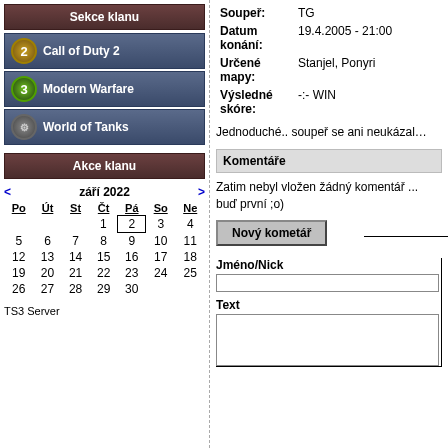Sekce klanu
Call of Duty 2
Modern Warfare
World of Tanks
Akce klanu
| Po | Út | St | Čt | Pá | So | Ne |
| --- | --- | --- | --- | --- | --- | --- |
|  |  |  | 1 | 2 | 3 | 4 |
| 5 | 6 | 7 | 8 | 9 | 10 | 11 |
| 12 | 13 | 14 | 15 | 16 | 17 | 18 |
| 19 | 20 | 21 | 22 | 23 | 24 | 25 |
| 26 | 27 | 28 | 29 | 30 |  |  |
TS3 Server
Soupeř: TG
Datum konání: 19.4.2005 - 21:00
Určené mapy: Stanjel, Ponyri
Výsledné skóre: -:- WIN
Jednoduché.. soupeř se ani neukázal…
Komentáře
Zatim nebyl vložen žádný komentář ... buď první ;o)
Nový kometář
Jméno/Nick
Text